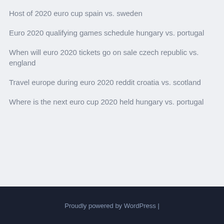Host of 2020 euro cup spain vs. sweden
Euro 2020 qualifying games schedule hungary vs. portugal
When will euro 2020 tickets go on sale czech republic vs. england
Travel europe during euro 2020 reddit croatia vs. scotland
Where is the next euro cup 2020 held hungary vs. portugal
Proudly powered by WordPress |